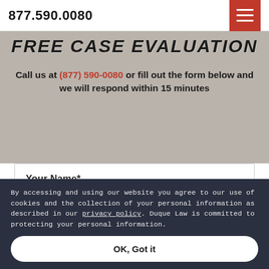877.590.0080
FREE CASE EVALUATION
Call us at (877) 590-0080 or fill out the form below and we will respond within 15 minutes
Your Name*
Your Number*
By accessing and using our website you agree to our use of cookies and the collection of your personal information as described in our privacy policy. Duque Law is committed to protecting your personal information.
OK, Got it